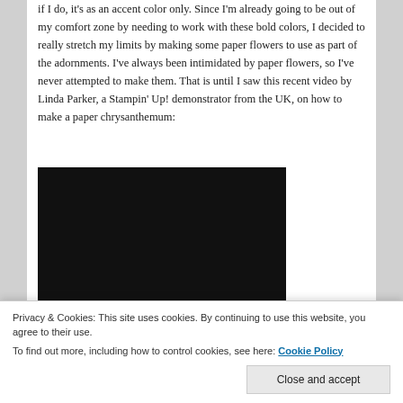if I do, it's as an accent color only. Since I'm already going to be out of my comfort zone by needing to work with these bold colors, I decided to really stretch my limits by making some paper flowers to use as part of the adornments. I've always been intimidated by paper flowers, so I've never attempted to make them. That is until I saw this recent video by Linda Parker, a Stampin' Up! demonstrator from the UK, on how to make a paper chrysanthemum:
[Figure (screenshot): Black video player embed area]
Privacy & Cookies: This site uses cookies. By continuing to use this website, you agree to their use.
To find out more, including how to control cookies, see here: Cookie Policy